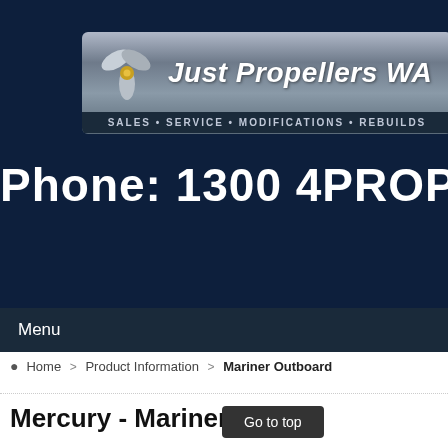[Figure (logo): Just Propellers WA logo with propeller icon, company name in italic bold white text, and tagline SALES • SERVICE • MODIFICATIONS • REBUILDS on dark background banner]
Phone: 1300 4PROPS
Menu
Home > Product Information > Mariner Outboard
Mercury - Mariner Outboard ... ercruiser